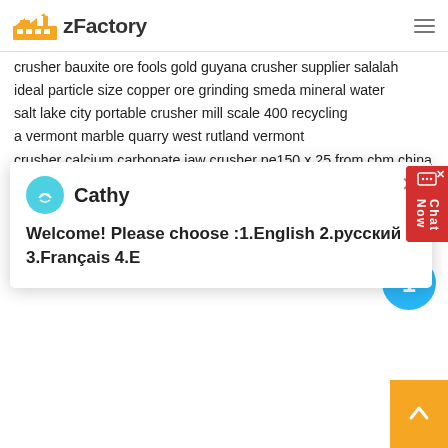zFactory
crusher bauxite ore fools gold guyana crusher supplier salalah
ideal particle size copper ore grinding smeda mineral water
salt lake city portable crusher mill scale 400 recycling
a vermont marble quarry west rutland vermont
crusher calcium carbonate jaw crusher pe150 x 25 from cbm china
g...
k...
b...
in...
[Figure (screenshot): Chat popup with Cathy avatar and welcome message: Welcome! Please choose :1.English 2.русский 3.Français 4.E]
concept of crushing technology
kaoline briquetting press machine in south africa quart
double toothed roll crusher in lesotho crusher parts in arkansas
pembuatan belt conveyor rock crushing equipment ethiopia
circular sand and stone gold vibraing screen
menghitung produksi crusher
gold ore mobile crusher repair indonessia
bharti domestic stone flour mill
centrifuge ethiopia mining machine gold ore